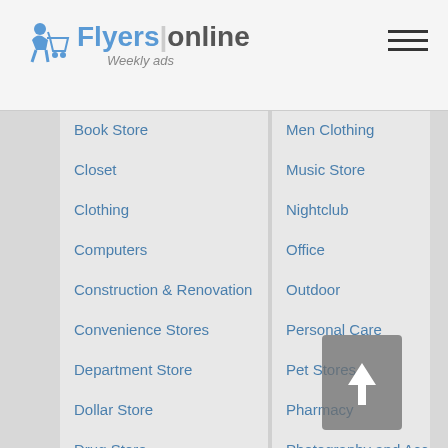[Figure (logo): FlyersOnline Weekly ads logo with shopping cart icon]
Book Store
Closet
Clothing
Computers
Construction & Renovation
Convenience Stores
Department Store
Dollar Store
Drug Store
DVD Blu-Ray Movie
Electronics
Entertainment
Eyewear
Fashion
Men Clothing
Music Store
Nightclub
Office
Outdoor
Personal Care
Pet Stores
Pharmacy
Photography and Accessories
Pools and Spas
Renovation Centers
Restaurants
School Uniform
Services